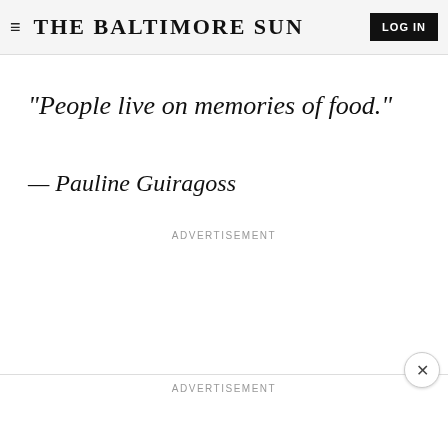≡ THE BALTIMORE SUN  LOG IN
"People live on memories of food."
— Pauline Guiragoss
ADVERTISEMENT
ADVERTISEMENT